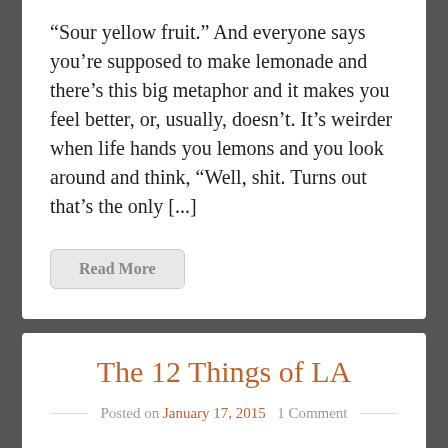“Sour yellow fruit.” And everyone says you’re supposed to make lemonade and there’s this big metaphor and it makes you feel better, or, usually, doesn’t. It’s weirder when life hands you lemons and you look around and think, “Well, shit. Turns out that’s the only [...]
Read More
The 12 Things of LA
Posted on January 17, 2015  1 Comment
I’m back in LA after traveling for the holidays, so now I